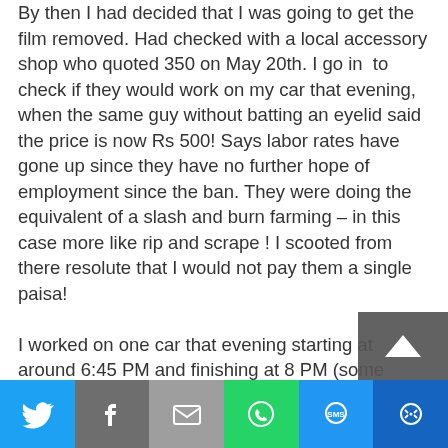By then I had decided that I was going to get the film removed. Had checked with a local accessory shop who quoted 350 on May 20th. I go in  to check if they would work on my car that evening, when the same guy without batting an eyelid said the price is now Rs 500! Says labor rates have gone up since they have no further hope of employment since the ban. They were doing the equivalent of a slash and burn farming – in this case more like rip and scrape ! I scooted from there resolute that I would not pay them a single paisa!
I worked on one car that evening starting at around 6:45 PM and finishing at 8 PM (some items left unfinished were rear quarter glass film removal and some cleanup of remnants of film stuck between glass and rubber beading. I woke up at 6 and finished some of the cleanup but couldn't proceed further as my parents needed to use
[Figure (infographic): Social sharing bar with icons for Twitter, Facebook, Email, WhatsApp, SMS, and More options]